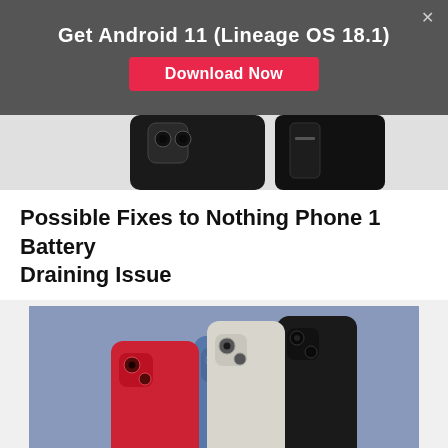Get Android 11 (Lineage OS 18.1)
Download Now
[Figure (photo): Top portion of Nothing Phone 1 showing camera module area, partial crop]
Possible Fixes to Nothing Phone 1 Battery Draining Issue
[Figure (photo): Four Asus Zenfone 9 phones in different colors (red, white/grey, blue, black) arranged on a blue-grey background]
How to Unlock Bootloader and Root Asus Zenfone 9 (No TWRP)